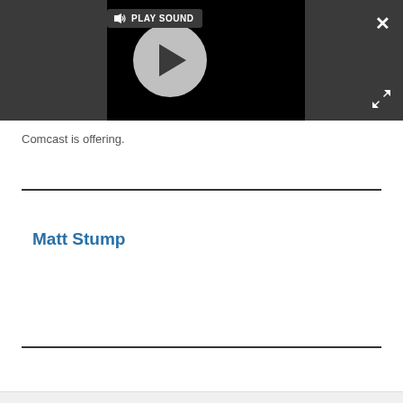[Figure (screenshot): Video player with black background, play button circle, and PLAY SOUND badge in top left. Dark gray overlay bar with close (X) and expand (arrows) buttons.]
Comcast is offering.
Matt Stump